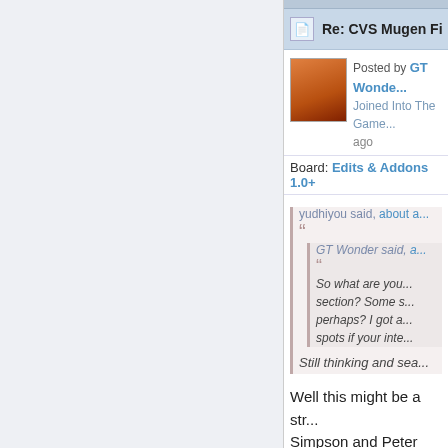Re: CVS Mugen Fightin...
Posted by GT Wonde... Joined Into The Game ago
Board: Edits & Addons 1.0+
yudhiyou said, about a...
GT Wonder said, a... So what are you... section? Some s... perhaps? I got a... spots if your inte...
Still thinking and sea...
Well this might be a str... Simpson and Peter Gri... edited versions by Judg...